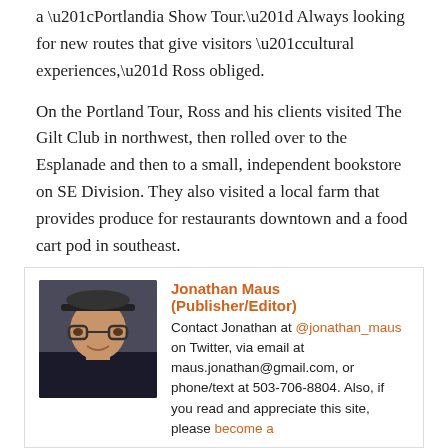a “Portlandia Show Tour.” Always looking for new routes that give visitors “cultural experiences,” Ross obliged.
On the Portland Tour, Ross and his clients visited The Gilt Club in northwest, then rolled over to the Esplanade and then to a small, independent bookstore on SE Division. They also visited a local farm that provides produce for restaurants downtown and a food cart pod in southeast.
“I’m hoping that we’ll see a food cart scene in an upcoming episode or a Santacon reference,” Ross says, “I love this city.”
[Figure (photo): Headshot photo of Jonathan Maus, a man wearing glasses and a dark cap, smiling.]
Jonathan Maus (Publisher/Editor)
Contact Jonathan at @jonathan_maus on Twitter, via email at maus.jonathan@gmail.com, or phone/text at 503-706-8804. Also, if you read and appreciate this site, please become a